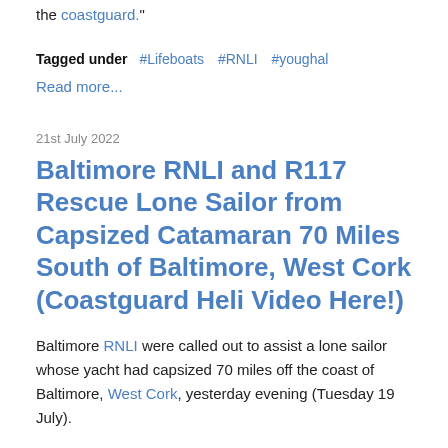the coastguard."
Tagged under  #Lifeboats  #RNLI  #youghal
Read more...
21st July 2022
Baltimore RNLI and R117 Rescue Lone Sailor from Capsized Catamaran 70 Miles South of Baltimore, West Cork (Coastguard Heli Video Here!)
Baltimore RNLI were called out to assist a lone sailor whose yacht had capsized 70 miles off the coast of Baltimore, West Cork, yesterday evening (Tuesday 19 July).
The volunteer lifeboat crew launched their all-weather lifeboat at 5.50 pm, following a request from the Irish Coast Guard to go to